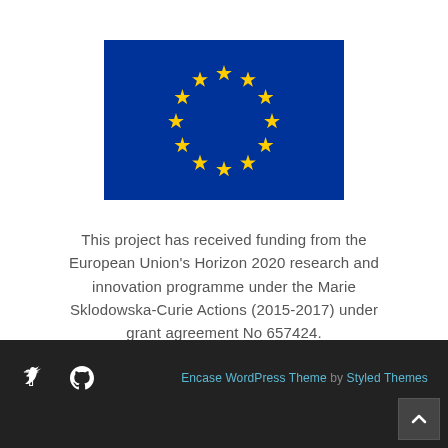[Figure (logo): European Union flag — blue rectangle with a circle of 12 yellow stars]
This project has received funding from the European Union's Horizon 2020 research and innovation programme under the Marie Sklodowska-Curie Actions (2015-2017) under grant agreement No 657424.
Encase WordPress Theme by Styled Themes